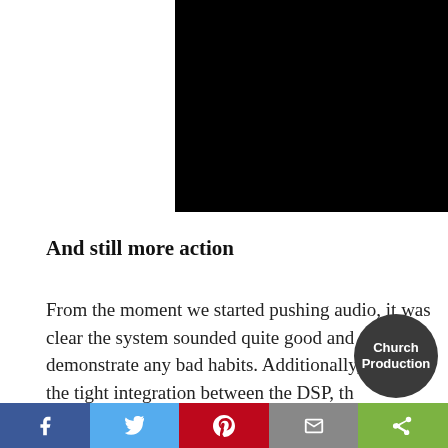[Figure (photo): Black rectangular image block at the top center of the page]
And still more action
From the moment we started pushing audio, it was clear the system sounded quite good and didn't demonstrate any bad habits. Additionally, due to the tight integration between the DSP, th
[Figure (logo): Church Production circular logo badge, dark grey background with white text]
[Figure (infographic): Social media sharing bar at bottom: Facebook (blue), Twitter (light blue), Pinterest (red), Email (grey), Share (green)]